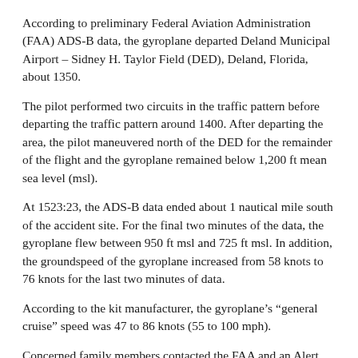According to preliminary Federal Aviation Administration (FAA) ADS-B data, the gyroplane departed Deland Municipal Airport – Sidney H. Taylor Field (DED), Deland, Florida, about 1350.
The pilot performed two circuits in the traffic pattern before departing the traffic pattern around 1400. After departing the area, the pilot maneuvered north of the DED for the remainder of the flight and the gyroplane remained below 1,200 ft mean sea level (msl).
At 1523:23, the ADS-B data ended about 1 nautical mile south of the accident site. For the final two minutes of the data, the gyroplane flew between 950 ft msl and 725 ft msl. In addition, the groundspeed of the gyroplane increased from 58 knots to 76 knots for the last two minutes of data.
According to the kit manufacturer, the gyroplane's “general cruise” speed was 47 to 86 knots (55 to 100 mph).
Concerned family members contacted the FAA and an Alert Notice (ALNOT) was issued about 2130 for the missing gyroplane. It was located the following morning, around 0855 in a heavily wooded